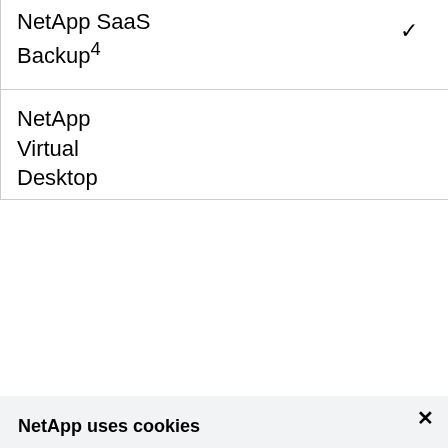| NetApp SaaS Backup⁴ | ✓ |
| NetApp Virtual Desktop |  |
NetApp uses cookies
We use strictly necessary cookies for the proper delivery of our online services. We use other types of cookies to customize experiences and to drive continuous improvement. By closing this banner or by browsing this site, you agree and accept the use of cookies in accordance with our policy.
Accept all cookies
Cookie settings